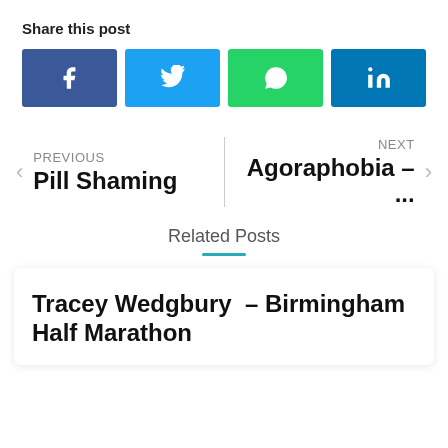Share this post
[Figure (infographic): Four social share buttons: Facebook (dark blue), Twitter (light blue), WhatsApp (green), LinkedIn (teal blue)]
PREVIOUS
Pill Shaming
NEXT
Agoraphobia – ...
Related Posts
Tracey Wedgbury – Birmingham Half Marathon